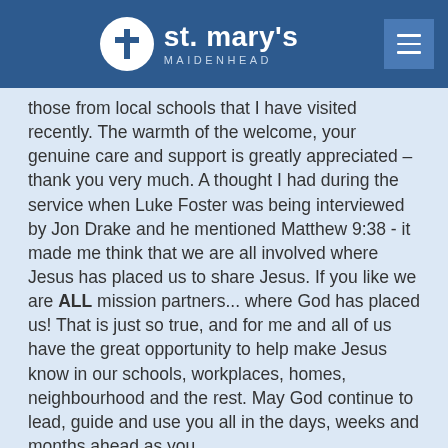st. mary's MAIDENHEAD
those from local schools that I have visited recently. The warmth of the welcome, your genuine care and support is greatly appreciated – thank you very much. A thought I had during the service when Luke Foster was being interviewed by Jon Drake and he mentioned Matthew 9:38 - it made me think that we are all involved where Jesus has placed us to share Jesus. If you like we are ALL mission partners... where God has placed us! That is just so true, and for me and all of us have the great opportunity to help make Jesus know in our schools, workplaces, homes, neighbourhood and the rest. May God continue to lead, guide and use you all in the days, weeks and months ahead as you